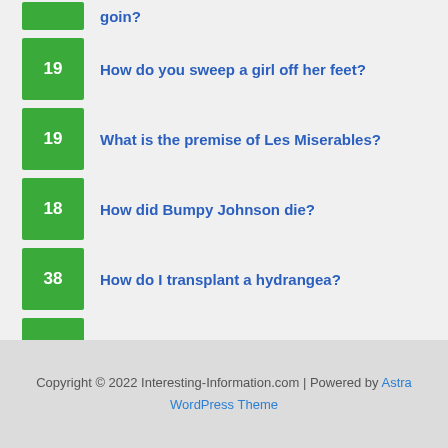19 — How do you sweep a girl off her feet?
19 — What is the premise of Les Miserables?
18 — How did Bumpy Johnson die?
38 — How do I transplant a hydrangea?
27 — How do I update my Arris router firmware?
Copyright © 2022 Interesting-Information.com | Powered by Astra WordPress Theme